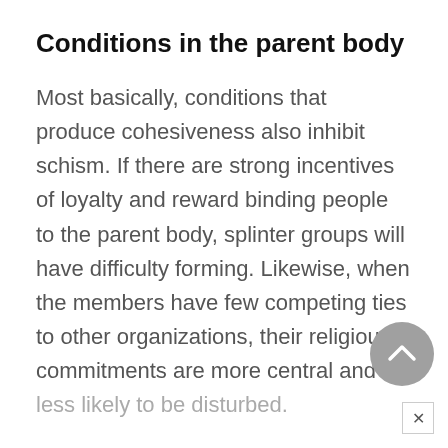Conditions in the parent body
Most basically, conditions that produce cohesiveness also inhibit schism. If there are strong incentives of loyalty and reward binding people to the parent body, splinter groups will have difficulty forming. Likewise, when the members have few competing ties to other organizations, their religious commitments are more central and less likely to be disturbed.